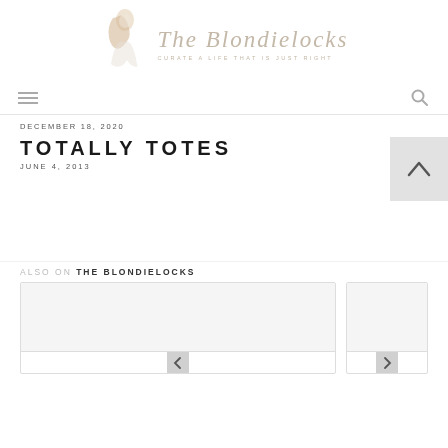[Figure (logo): The Blondielocks blog logo with illustrated woman figure and script text reading 'The Blondielocks' with tagline 'CURATE A LIFE THAT IS JUST RIGHT']
DECEMBER 18, 2020
TOTALLY TOTES
JUNE 4, 2013
ALSO ON THE BLONDIELOCKS
[Figure (screenshot): Two card thumbnails with navigation arrows at bottom, part of 'Also on The Blondielocks' section]